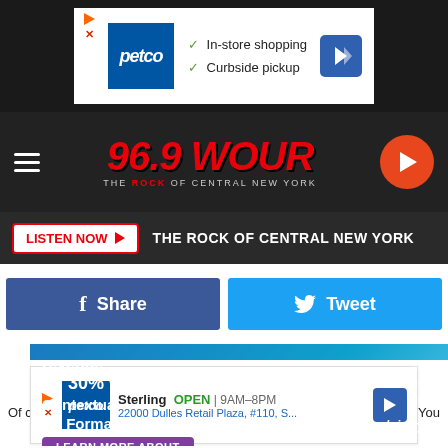[Figure (screenshot): Petco ad banner: In-store shopping, Curbside pickup with navigation arrow]
[Figure (screenshot): 96.9 WOUR radio station header logo — The Rock of Central New York]
LISTEN NOW ▶  THE ROCK OF CENTRAL NEW YORK
[Figure (screenshot): Facebook Share button and Twitter Tweet button]
[Figure (screenshot): Ad banner: revenue by 30% with Contextual Ad Formats — LEARN MORE ABOUT hindsight]
Of cou  You
[Figure (screenshot): Petco ad: Sterling OPEN 9AM-8PM, 22000 Dulles Retail Plaza, #110, S...]